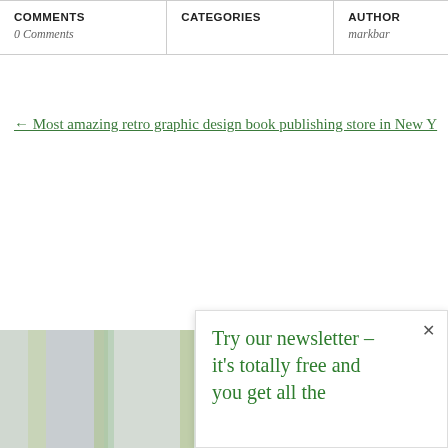| COMMENTS | CATEGORIES | AUTHOR |
| --- | --- | --- |
| 0 Comments |  | markbar |
← Most amazing retro graphic design book publishing store in New Y
[Figure (illustration): Decorative vertical stripe pattern background in muted greens and grays]
Try our newsletter – × it's totally free and you get all the